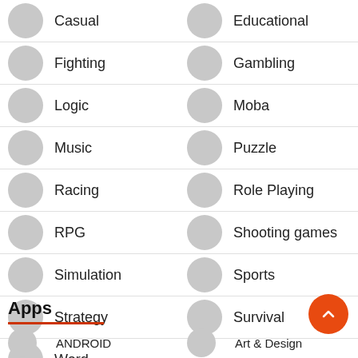Casual
Educational
Fighting
Gambling
Logic
Moba
Music
Puzzle
Racing
Role Playing
RPG
Shooting games
Simulation
Sports
Strategy
Survival
Word
Apps
ANDROID
Art & Design